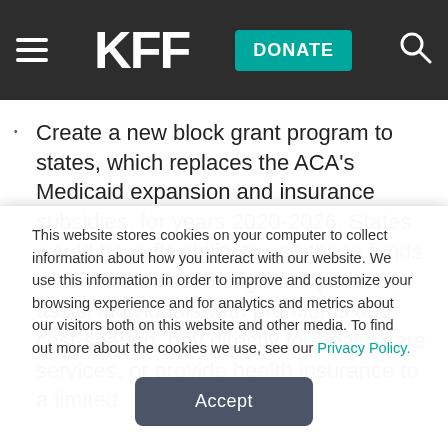KFF
Create a new block grant program to states, which replaces the ACA's Medicaid expansion and insurance subsidies, for years 2020-2026. States would have flexibility to use these funds to cover the cost of high-risk patients, assist individuals with premiums and cost-sharing, pay directly for health care services, or provide health insurance to a limited
This website stores cookies on your computer to collect information about how you interact with our website. We use this information in order to improve and customize your browsing experience and for analytics and metrics about our visitors both on this website and other media. To find out more about the cookies we use, see our Privacy Policy.